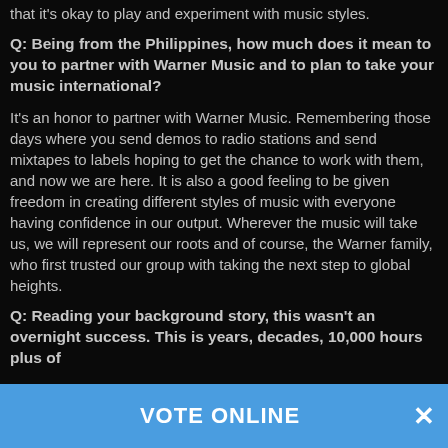that it's okay to play and experiment with music styles.
Q: Being from the Philippines, how much does it mean to you to partner with Warner Music and to plan to take your music international?
It's an honor to partner with Warner Music. Remembering those days where you send demos to radio stations and send mixtapes to labels hoping to get the chance to work with them, and now we are here. It is also a good feeling to be given freedom in creating different styles of music with everyone having confidence in our output. Wherever the music will take us, we will represent our roots and of course, the Warner family, who first trusted our group with taking the next step to global heights.
Q: Reading your background story, this wasn't an overnight success. This is years, decades, 10,000 hours plus of
VOTE ONLINE